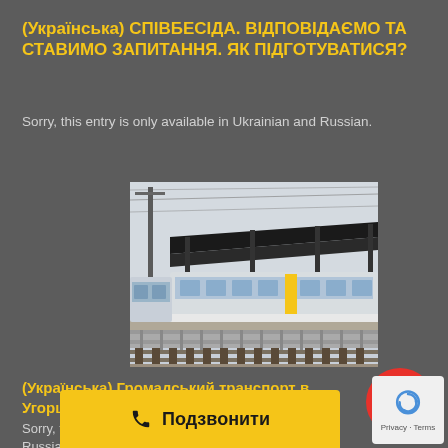(Українська) СПІВБЕСІДА. ВІДПОВІДАЄМО ТА СТАВИМО ЗАПИТАННЯ. ЯК ПІДГОТУВАТИСЯ?
Sorry, this entry is only available in Ukrainian and Russian.
[Figure (photo): A train or tram at a covered railway/tram platform station. A large dark canopy/roof covers the platform. A modern passenger train is visible on the tracks. Overcast sky in background.]
(Українська) Громадський транспорт в Угорщині
Sorry, this entry is only available in Ukrainian and Russian.